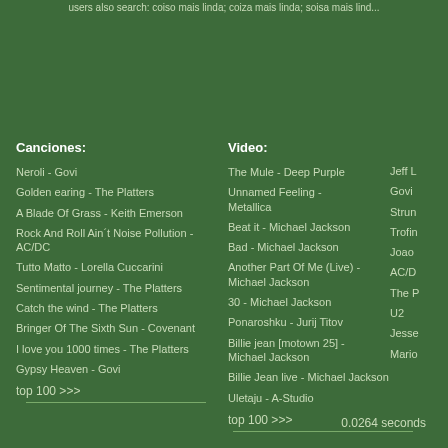users also search: coiso mais linda; coiza mais linda; soisa mais linda
Canciones:
Neroli - Govi
Golden earing - The Platters
A Blade Of Grass - Keith Emerson
Rock And Roll Ain´t Noise Pollution - AC/DC
Tutto Matto - Lorella Cuccarini
Sentimental journey - The Platters
Catch the wind - The Platters
Bringer Of The Sixth Sun - Covenant
I love you 1000 times - The Platters
Gypsy Heaven - Govi
top 100 >>>
Video:
The Mule - Deep Purple
Unnamed Feeling - Metallica
Beat it - Michael Jackson
Bad - Michael Jackson
Another Part Of Me (Live) - Michael Jackson
30 - Michael Jackson
Ponaroshku - Jurij Titov
Billie jean [motown 25] - Michael Jackson
Billie Jean live - Michael Jackson
Uletaju - A-Studio
top 100 >>>
Jeff L
Govi
Strun...
Trofin...
Joao ...
AC/D...
The P...
U2
Jesse...
Mario...
0.0264 seconds